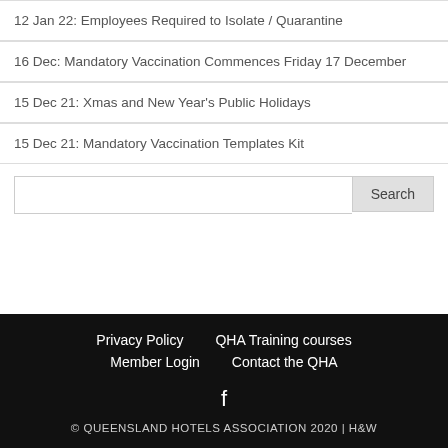12 Jan 22: Employees Required to Isolate / Quarantine
16 Dec: Mandatory Vaccination Commences Friday 17 December
15 Dec 21: Xmas and New Year's Public Holidays
15 Dec 21: Mandatory Vaccination Templates Kit
Privacy Policy   QHA Training courses   Member Login   Contact the QHA   © QUEENSLAND HOTELS ASSOCIATION 2020 | H&W